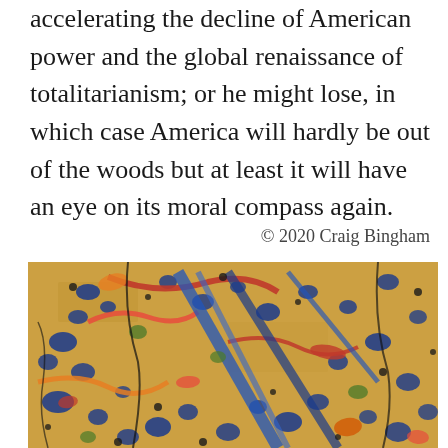accelerating the decline of American power and the global renaissance of totalitarianism; or he might lose, in which case America will hardly be out of the woods but at least it will have an eye on its moral compass again.
© 2020 Craig Bingham
[Figure (illustration): Abstract expressionist painting with splattered and dripped paint in blue, red, orange, green, black on a golden/cream background, resembling a Jackson Pollock style work.]